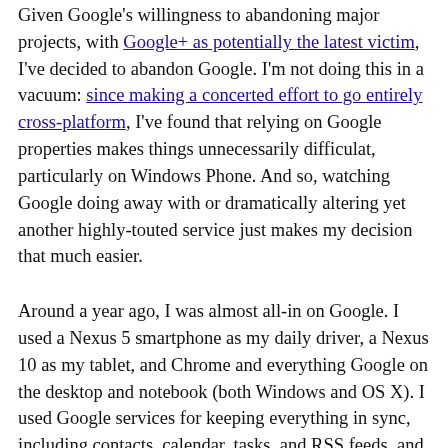Given Google's willingness to abandoning major projects, with Google+ as potentially the latest victim, I've decided to abandon Google. I'm not doing this in a vacuum: since making a concerted effort to go entirely cross-platform, I've found that relying on Google properties makes things unnecessarily difficulat, particularly on Windows Phone. And so, watching Google doing away with or dramatically altering yet another highly-touted service just makes my decision that much easier.
Around a year ago, I was almost all-in on Google. I used a Nexus 5 smartphone as my daily driver, a Nexus 10 as my tablet, and Chrome and everything Google on the desktop and notebook (both Windows and OS X). I used Google services for keeping everything in sync, including contacts, calendar, tasks, and RSS feeds, and Hangouts for instant messaging and video conferencing. Things worked for the most part, but various changes and